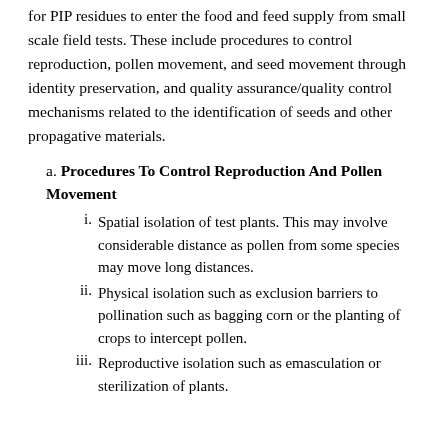for PIP residues to enter the food and feed supply from small scale field tests. These include procedures to control reproduction, pollen movement, and seed movement through identity preservation, and quality assurance/quality control mechanisms related to the identification of seeds and other propagative materials.
a. Procedures To Control Reproduction And Pollen Movement
i. Spatial isolation of test plants. This may involve considerable distance as pollen from some species may move long distances.
ii. Physical isolation such as exclusion barriers to pollination such as bagging corn or the planting of crops to intercept pollen.
iii. Reproductive isolation such as emasculation or sterilization of plants.